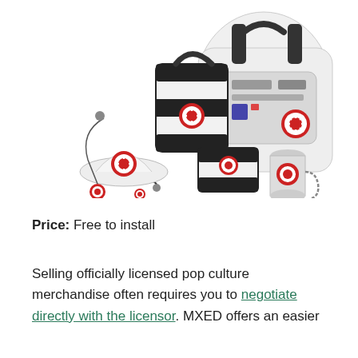[Figure (photo): Collection of Star Wars Imperial-themed merchandise including a large white backpack, black and white handbag/purse, wallet, keychain accessories, and cylindrical container, all featuring the red Imperial logo/crest on white and black backgrounds.]
Price: Free to install
Selling officially licensed pop culture merchandise often requires you to negotiate directly with the licensor. MXED offers an easier